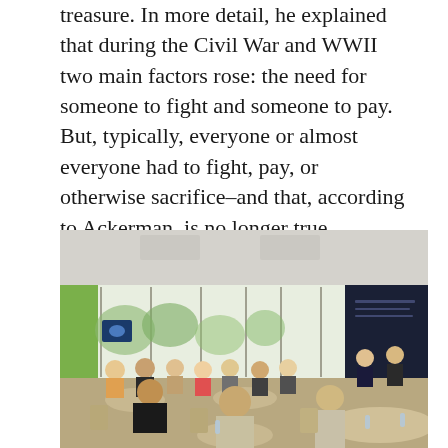treasure. In more detail, he explained that during the Civil War and WWII two main factors rose: the need for someone to fight and someone to pay. But, typically, everyone or almost everyone had to fight, pay, or otherwise sacrifice–and that, according to Ackerman, is no longer true.
[Figure (photo): A conference room with people seated at round tables listening to a panel discussion. The room has large windows with trees visible outside, a green wall on the left, and a dark branded backdrop at the front where two speakers are seated.]